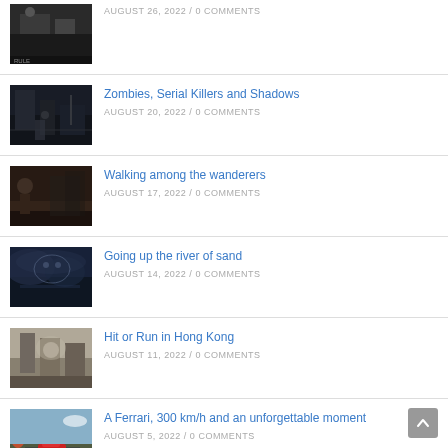[Figure (screenshot): Partial game screenshot at top, dark scene]
AUGUST 26, 2022 / 0 COMMENTS
[Figure (screenshot): Game screenshot, dark urban scene with zombie-like setting]
Zombies, Serial Killers and Shadows
AUGUST 20, 2022 / 0 COMMENTS
[Figure (screenshot): Game screenshot, dark scene with character]
Walking among the wanderers
AUGUST 17, 2022 / 0 COMMENTS
[Figure (screenshot): Game screenshot, blue-toned scene]
Going up the river of sand
AUGUST 14, 2022 / 0 COMMENTS
[Figure (screenshot): Game screenshot, action scene in city]
Hit or Run in Hong Kong
AUGUST 11, 2022 / 0 COMMENTS
[Figure (screenshot): Game screenshot with red Ferrari on road with autumn trees]
A Ferrari, 300 km/h and an unforgettable moment
AUGUST 5, 2022 / 0 COMMENTS
[Figure (screenshot): Game screenshot, dark scene from motorcycle perspective]
From suffering to reward